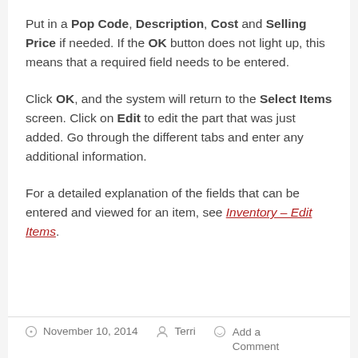Put in a Pop Code, Description, Cost and Selling Price if needed. If the OK button does not light up, this means that a required field needs to be entered.
Click OK, and the system will return to the Select Items screen. Click on Edit to edit the part that was just added. Go through the different tabs and enter any additional information.
For a detailed explanation of the fields that can be entered and viewed for an item, see Inventory – Edit Items.
November 10, 2014   Terri   Add a Comment